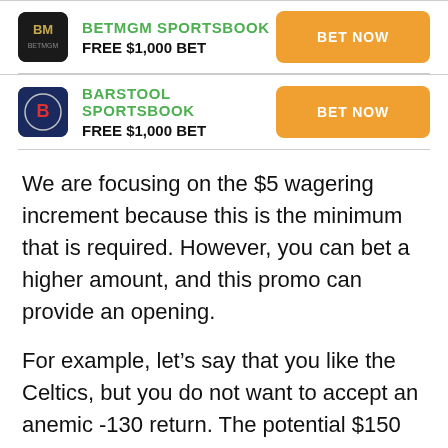[Figure (logo): BetMGM Sportsbook promo card with logo, FREE $1,000 BET offer, and BET NOW button]
[Figure (logo): Barstool Sportsbook promo card with logo, FREE $1,000 BET offer, and BET NOW button]
We are focusing on the $5 wagering increment because this is the minimum that is required. However, you can bet a higher amount, and this promo can provide an opening.
For example, let's say that you like the Celtics, but you do not want to accept an anemic -130 return. The potential $150 bonus will change the playing field and provide the necessary value.